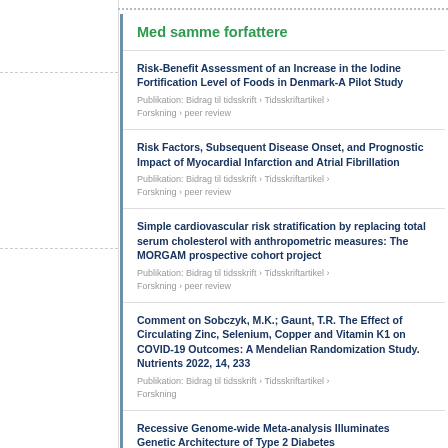Med samme forfattere
Risk-Benefit Assessment of an Increase in the Iodine Fortification Level of Foods in Denmark-A Pilot Study
Publikation: Bidrag til tidsskrift › Tidsskriftartikel › Forskning › peer review
Risk Factors, Subsequent Disease Onset, and Prognostic Impact of Myocardial Infarction and Atrial Fibrillation
Publikation: Bidrag til tidsskrift › Tidsskriftartikel › Forskning › peer review
Simple cardiovascular risk stratification by replacing total serum cholesterol with anthropometric measures: The MORGAM prospective cohort project
Publikation: Bidrag til tidsskrift › Tidsskriftartikel › Forskning › peer review
Comment on Sobczyk, M.K.; Gaunt, T.R. The Effect of Circulating Zinc, Selenium, Copper and Vitamin K1 on COVID-19 Outcomes: A Mendelian Randomization Study. Nutrients 2022, 14, 233
Publikation: Bidrag til tidsskrift › Tidsskriftartikel › Forskning
Recessive Genome-wide Meta-analysis Illuminates Genetic Architecture of Type 2 Diabetes